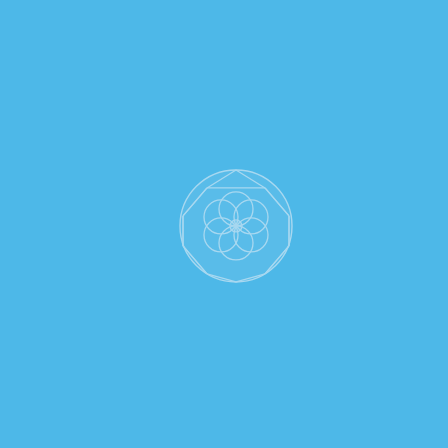[Figure (logo): A circular geometric mandala/flower-of-life style logo in light blue on a medium blue background, centered slightly below and to the right of the page center. The logo consists of overlapping circles forming a petal/flower pattern inside a sphere-like outline with polygonal facets.]